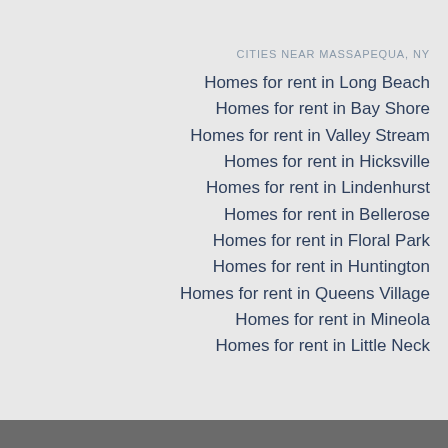CITIES NEAR MASSAPEQUA, NY
Homes for rent in Long Beach
Homes for rent in Bay Shore
Homes for rent in Valley Stream
Homes for rent in Hicksville
Homes for rent in Lindenhurst
Homes for rent in Bellerose
Homes for rent in Floral Park
Homes for rent in Huntington
Homes for rent in Queens Village
Homes for rent in Mineola
Homes for rent in Little Neck